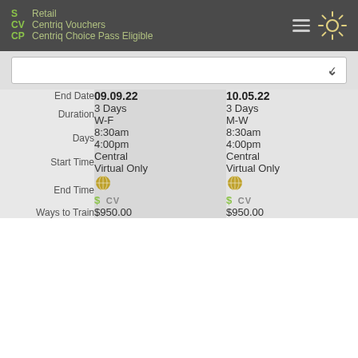S Retail
CV Centriq Vouchers
CP Centriq Choice Pass Eligible
|  | 09.09.22 | 10.05.22 |
| --- | --- | --- |
| End Date | 09.09.22 | 10.05.22 |
| Duration | 3 Days | 3 Days |
| Days | W-F | M-W |
| Start Time | 8:30am | 8:30am |
| End Time | 4:00pm | 4:00pm |
| Time Zone | Central | Central |
| Location | Virtual Only | Virtual Only |
|  | $ CV | $ CV |
| Ways to Train | $950.00 | $950.00 |